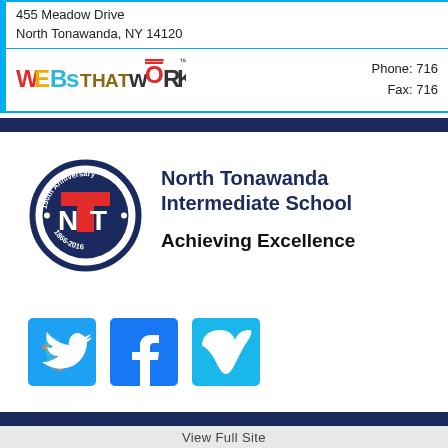455 Meadow Drive
North Tonawanda, NY 14120
[Figure (logo): WEBsTHATwORK logo in colorful letters with TM symbol]
Phone: 716
Fax: 716
[Figure (logo): North Tonawanda 150th Anniversary school seal logo, 1866-2016]
North Tonawanda Intermediate School
Achieving Excellence
[Figure (logo): Twitter social media icon (blue square with bird)]
[Figure (logo): Facebook social media icon (blue square with f)]
[Figure (logo): Vimeo social media icon (light blue square with v)]
View Full Site